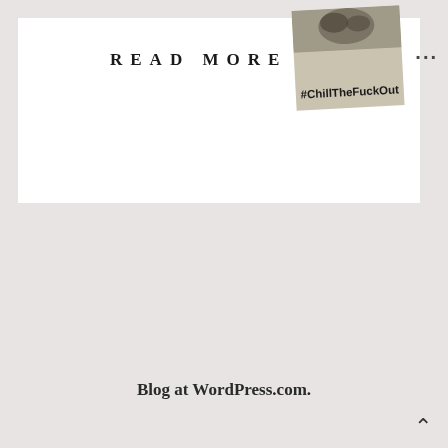READ MORE
[Figure (photo): A sticker or tag with hashtag #ChillTheFuckOut, slightly rotated, with a dark illustration at the top]
Blog at WordPress.com.